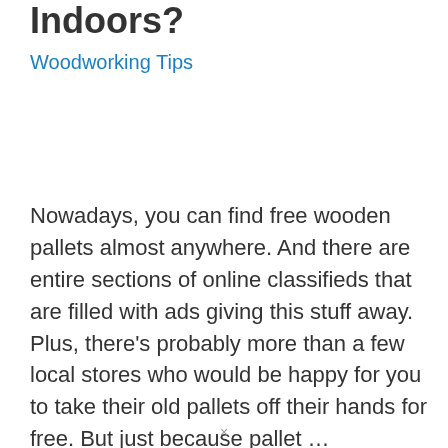Indoors?
Woodworking Tips
Nowadays, you can find free wooden pallets almost anywhere. And there are entire sections of online classifieds that are filled with ads giving this stuff away. Plus, there’s probably more than a few local stores who would be happy for you to take their old pallets off their hands for free. But just because pallet …